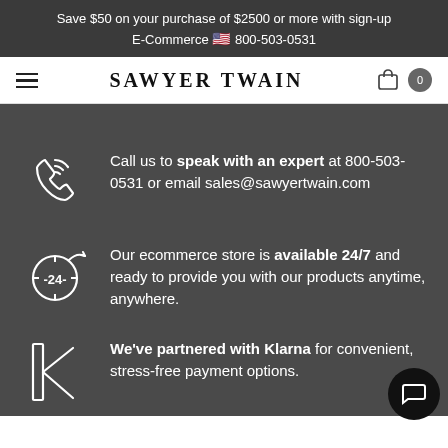Save $50 on your purchase of $2500 or more with sign-up
E-Commerce 🇺🇸 800-503-0531
[Figure (logo): Sawyer Twain website navigation bar with hamburger menu, logo, shopping bag icon and cart count 0]
Call us to speak with an expert at 800-503-0531 or email sales@sawyertwain.com
Our ecommerce store is available 24/7 and ready to provide you with our products anytime, anywhere.
We've partnered with Klarna for convenient, stress-free payment options.